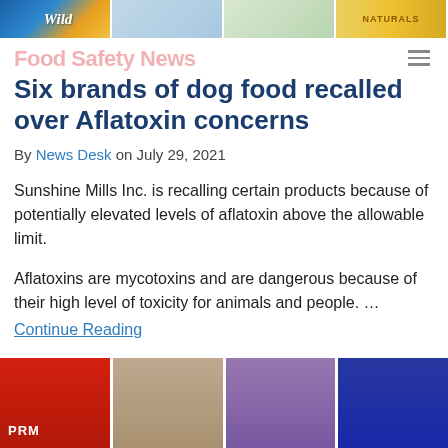[Figure (photo): Top banner with four dog food product images including Wild brand and Naturals brand products]
Food Safety News
Six brands of dog food recalled over Aflatoxin concerns
By News Desk on July 29, 2021
Sunshine Mills Inc. is recalling certain products because of potentially elevated levels of aflatoxin above the allowable limit.
Aflatoxins are mycotoxins and are dangerous because of their high level of toxicity for animals and people. … Continue Reading
[Figure (photo): Bottom portion showing colorful dog food product packages in red, tan/brown, purple, and dark blue colors, with 'PRM' text visible on the red package]